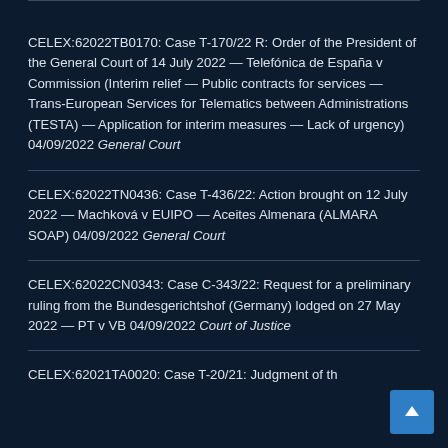CELEX:62022TB0170: Case T-170/22 R: Order of the President of the General Court of 14 July 2022 — Telefónica de España v Commission (Interim relief — Public contracts for services — Trans-European Services for Telematics between Administrations (TESTA) — Application for interim measures — Lack of urgency) 04/09/2022 General Court
CELEX:62022TN0436: Case T-436/22: Action brought on 12 July 2022 — Machková v EUIPO — Aceites Almenara (ALMARA SOAP) 04/09/2022 General Court
CELEX:62022CN0343: Case C-343/22: Request for a preliminary ruling from the Bundesgerichtshof (Germany) lodged on 27 May 2022 — PT v VB 04/09/2022 Court of Justice
CELEX:62021TA0020: Case T-20/21: Judgment of th...